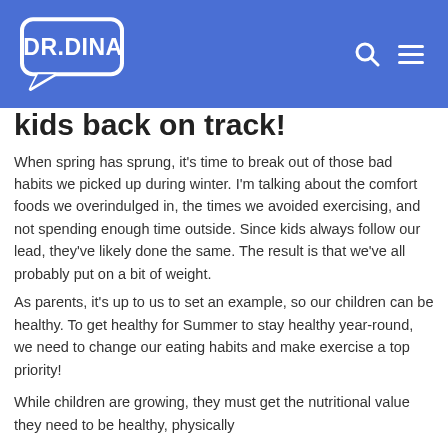DR.DINA
kids back on track!
When spring has sprung, it's time to break out of those bad habits we picked up during winter. I'm talking about the comfort foods we overindulged in, the times we avoided exercising, and not spending enough time outside. Since kids always follow our lead, they've likely done the same. The result is that we've all probably put on a bit of weight.
As parents, it's up to us to set an example, so our children can be healthy. To get healthy for Summer to stay healthy year-round, we need to change our eating habits and make exercise a top priority!
While children are growing, they must get the nutritional value they need to be healthy, physically